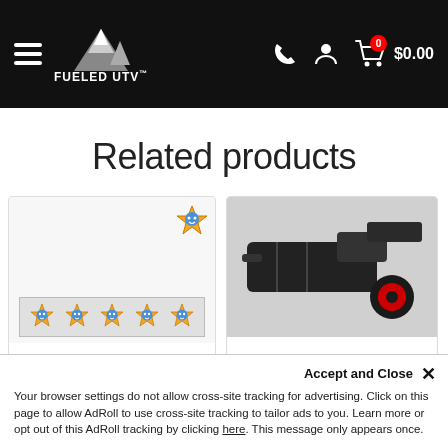Fueled UTV — Navigation header with logo, phone, account, and cart ($0.00)
Related products
[Figure (photo): Product card 1: sticker sheet with repeating star character logos]
[Figure (photo): Product card 2: black mechanical tool or UTV part]
Accept and Close ✕
Your browser settings do not allow cross-site tracking for advertising. Click on this page to allow AdRoll to use cross-site tracking to tailor ads to you. Learn more or opt out of this AdRoll tracking by clicking here. This message only appears once.